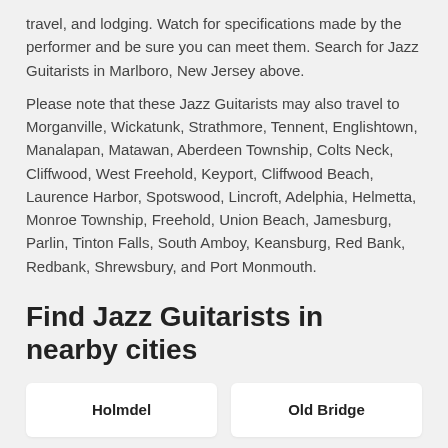travel, and lodging. Watch for specifications made by the performer and be sure you can meet them. Search for Jazz Guitarists in Marlboro, New Jersey above.
Please note that these Jazz Guitarists may also travel to Morganville, Wickatunk, Strathmore, Tennent, Englishtown, Manalapan, Matawan, Aberdeen Township, Colts Neck, Cliffwood, West Freehold, Keyport, Cliffwood Beach, Laurence Harbor, Spotswood, Lincroft, Adelphia, Helmetta, Monroe Township, Freehold, Union Beach, Jamesburg, Parlin, Tinton Falls, South Amboy, Keansburg, Red Bank, Redbank, Shrewsbury, and Port Monmouth.
Find Jazz Guitarists in nearby cities
Holmdel
Old Bridge